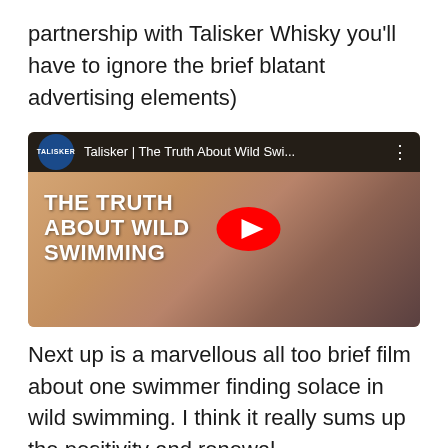partnership with Talisker Whisky you'll have to ignore the brief blatant advertising elements)
[Figure (screenshot): YouTube video thumbnail for 'Talisker | The Truth About Wild Swi...' showing a woman with curly hair in a green jacket against a warm background. Large white bold text reads 'THE TRUTH ABOUT WILD SWIMMING'. A red YouTube play button is visible in the center.]
Next up is a marvellous all too brief film about one swimmer finding solace in wild swimming. I think it really sums up the positivity and renewal